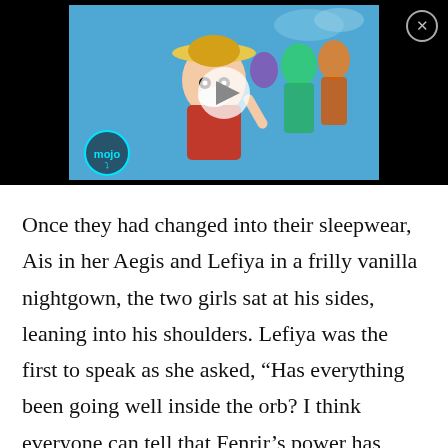[Figure (screenshot): A video thumbnail showing One Piece anime characters including Monkey D. Luffy in a straw hat and red vest with a white mask over his mouth, surrounded by other characters on a blue sky background. The WatchMojo 'mojo' logo appears in the bottom left. A play button is visible in the center. A close (X) button is in the upper right corner of the black background frame.]
Once they had changed into their sleepwear, Ais in her Aegis and Lefiya in a frilly vanilla nightgown, the two girls sat at his sides, leaning into his shoulders. Lefiya was the first to speak as she asked, “Has everything been going well inside the orb? I think everyone can tell that Fenrir’s power has increased greatly, almost unbelievably so…it makes me giddy with excitement…” Vahn could feel Lefiya’s body